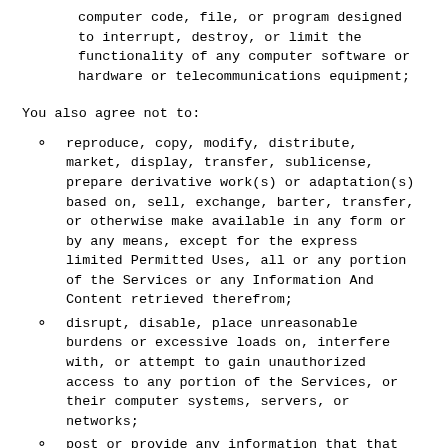computer code, file, or program designed to interrupt, destroy, or limit the functionality of any computer software or hardware or telecommunications equipment;
You also agree not to:
reproduce, copy, modify, distribute, market, display, transfer, sublicense, prepare derivative work(s) or adaptation(s) based on, sell, exchange, barter, transfer, or otherwise make available in any form or by any means, except for the express limited Permitted Uses, all or any portion of the Services or any Information And Content retrieved therefrom;
disrupt, disable, place unreasonable burdens or excessive loads on, interfere with, or attempt to gain unauthorized access to any portion of the Services, or their computer systems, servers, or networks;
post or provide any information that that you know (or ought to know) is false or misleading, provide false information about yourself,